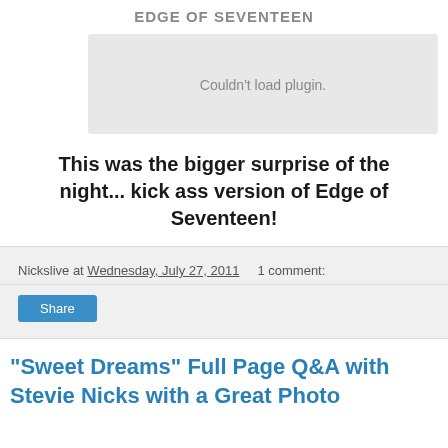EDGE OF SEVENTEEN
Couldn't load plugin.
This was the bigger surprise of the night... kick ass version of Edge of Seventeen!
Nickslive at Wednesday, July 27, 2011   1 comment:
Share
"Sweet Dreams" Full Page Q&A with Stevie Nicks with a Great Photo